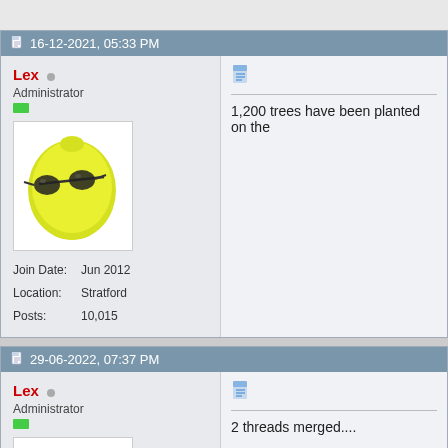16-12-2021, 05:33 PM
Lex
Administrator
Join Date: Jun 2012
Location: Stratford
Posts: 10,015
1,200 trees have been planted on the
29-06-2022, 07:37 PM
Lex
Administrator
2 threads merged....